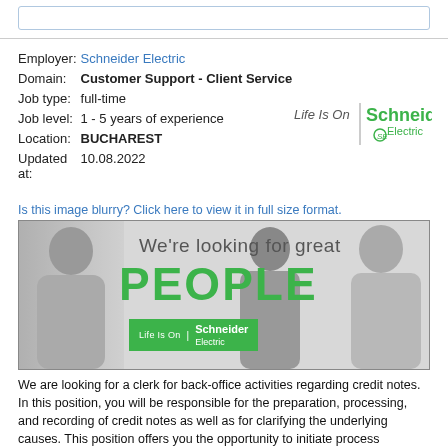| Field | Value |
| --- | --- |
| Employer: | Schneider Electric |
| Domain: | Customer Support - Client Service |
| Job type: | full-time |
| Job level: | 1 - 5 years of experience |
| Location: | BUCHAREST |
| Updated at: | 10.08.2022 |
[Figure (logo): Schneider Electric logo with 'Life Is On' tagline]
Is this image blurry? Click here to view it in full size format.
[Figure (photo): Schneider Electric recruitment advertisement showing three people in black and white with text 'We're looking for great PEOPLE' in green and the Schneider Electric logo]
We are looking for a clerk for back-office activities regarding credit notes. In this position, you will be responsible for the preparation, processing, and recording of credit notes as well as for clarifying the underlying causes. This position offers you the opportunity to initiate process improvements and to work in an international business environment. What